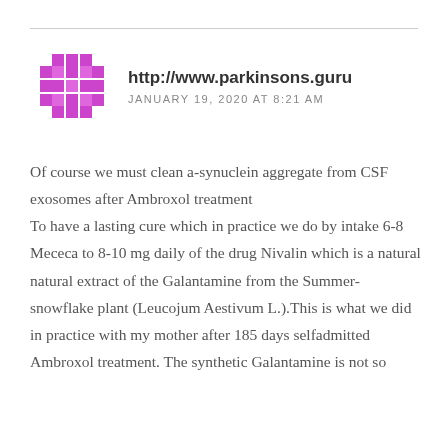[Figure (logo): Purple pixel/diamond pattern avatar icon]
http://www.parkinsons.guru
JANUARY 19, 2020 AT 8:21 AM
Of course we must clean a-synuclein aggregate from CSF exosomes after Ambroxol treatment
To have a lasting cure which in practice we do by intake 6-8 Mececa to 8-10 mg daily of the drug Nivalin which is a natural natural extract of the Galantamine from the Summer-snowflake plant (Leucojum Aestivum L.).This is what we did in practice with my mother after 185 days selfadmitted Ambroxol treatment. The synthetic Galantamine is not so